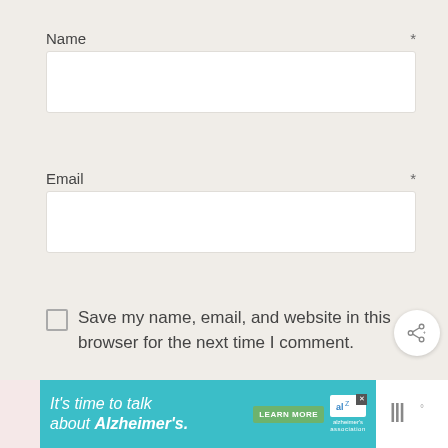Name *
Email *
Save my name, email, and website in this browser for the next time I comment.
POST COMMENT
WHAT'S NEXT → Homemade Kind Nut Bars
It's time to talk about Alzheimer's. LEARN MORE